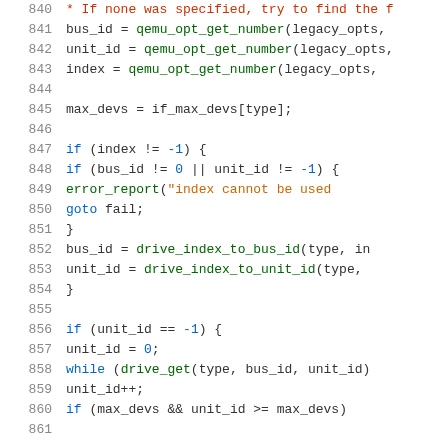Source code snippet, lines 840-861, C code showing drive index and unit_id logic